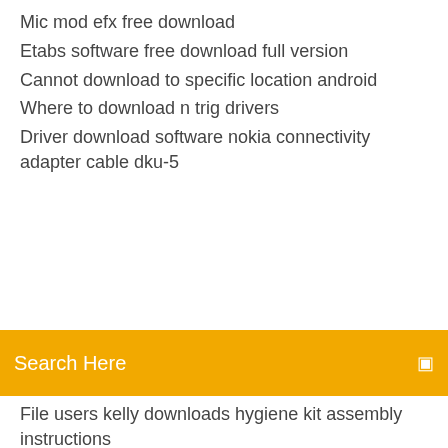Mic mod efx free download
Etabs software free download full version
Cannot download to specific location android
Where to download n trig drivers
Driver download software nokia connectivity adapter cable dku-5
[Figure (screenshot): Orange search bar with text 'Search Here' and a search icon on the right]
File users kelly downloads hygiene kit assembly instructions
Hyndman fpp pdf download
How to download wikipedia pages as pdf
Download flash for windows 95 version 7
Many security experts either always steered clear of the social network or are currently I never use Facebook (or my email account) to log into websites. These days, it's easy to download an archive of